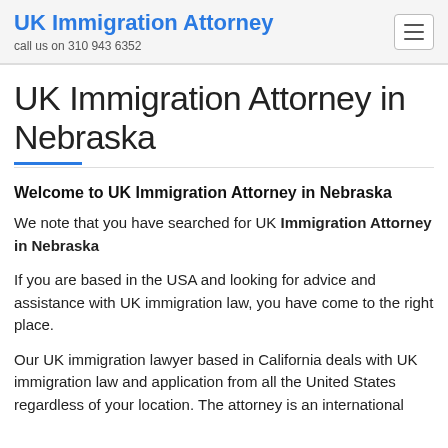UK Immigration Attorney
call us on 310 943 6352
UK Immigration Attorney in Nebraska
Welcome to UK Immigration Attorney in Nebraska
We note that you have searched for UK Immigration Attorney in Nebraska
If you are based in the USA and looking for advice and assistance with UK immigration law, you have come to the right place.
Our UK immigration lawyer based in California deals with UK immigration law and application from all the United States regardless of your location. The attorney is an international Attorney with dual qualified practising practitioner UK l...